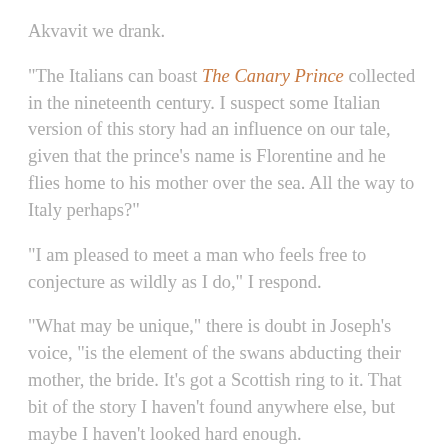Akvavit we drank.
“The Italians can boast The Canary Prince collected in the nineteenth century. I suspect some Italian version of this story had an influence on our tale, given that the prince’s name is Florentine and he flies home to his mother over the sea. All the way to Italy perhaps?”
“I am pleased to meet a man who feels free to conjecture as wildly as I do,” I respond.
“What may be unique,” there is doubt in Joseph’s voice, “is the element of the swans abducting their mother, the bride. It’s got a Scottish ring to it. That bit of the story I haven’t found anywhere else, but maybe I haven’t looked hard enough.
“And now, what is your request?” Joseph takes